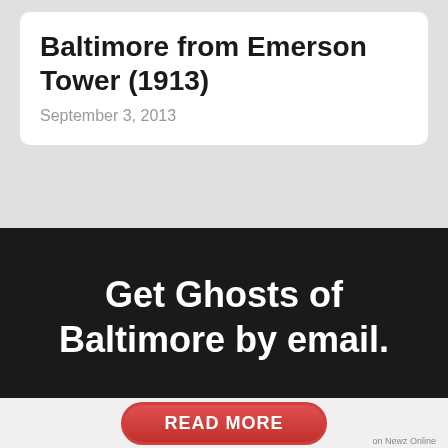Baltimore from Emerson Tower (1913)
September 3, 2013
Get Ghosts of Baltimore by email.
READ MORE
on Newz Online